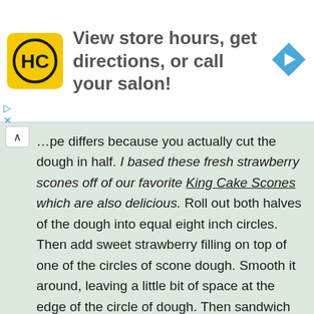[Figure (screenshot): Advertisement banner for a hair salon chain showing HC logo, text 'View store hours, get directions, or call your salon!', and a blue navigation arrow icon]
…pe differs because you actually cut the dough in half. I based these fresh strawberry scones off of our favorite King Cake Scones which are also delicious. Roll out both halves of the dough into equal eight inch circles. Then add sweet strawberry filling on top of one of the circles of scone dough. Smooth it around, leaving a little bit of space at the edge of the circle of dough. Then sandwich the other piece of dough on top. You get a nice thick layer of strawberry filling in the middle of the scone. Pinch the edges of the scone dough closed together, moving around the edges of the dough. Initially I thought the scones would be oozing out filling, but the filling holds pretty well, due to the…